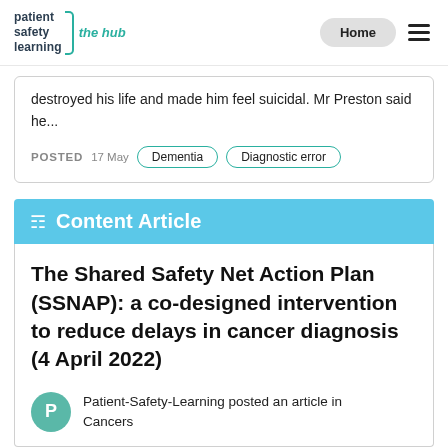patient safety learning the hub | Home
destroyed his life and made him feel suicidal. Mr Preston said he...
POSTED 17 May   Dementia   Diagnostic error
Content Article
The Shared Safety Net Action Plan (SSNAP): a co-designed intervention to reduce delays in cancer diagnosis (4 April 2022)
Patient-Safety-Learning posted an article in Cancers